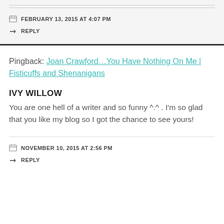FEBRUARY 13, 2015 AT 4:07 PM
REPLY
Pingback: Joan Crawford…You Have Nothing On Me | Fisticuffs and Shenanigans
IVY WILLOW
You are one hell of a writer and so funny ^.^ . I'm so glad that you like my blog so I got the chance to see yours!
NOVEMBER 10, 2015 AT 2:56 PM
REPLY